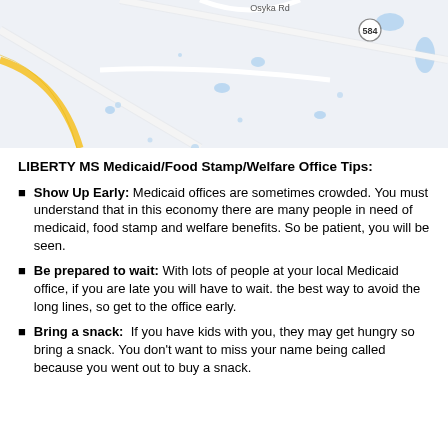[Figure (map): Street map showing an area near Osyka Rd with route 584 marker, roads, water features, and terrain in light gray and white tones with yellow and white roads.]
LIBERTY MS Medicaid/Food Stamp/Welfare Office Tips:
Show Up Early: Medicaid offices are sometimes crowded. You must understand that in this economy there are many people in need of medicaid, food stamp and welfare benefits. So be patient, you will be seen.
Be prepared to wait: With lots of people at your local Medicaid office, if you are late you will have to wait. the best way to avoid the long lines, so get to the office early.
Bring a snack:  If you have kids with you, they may get hungry so bring a snack. You don't want to miss your name being called because you went out to buy a snack.